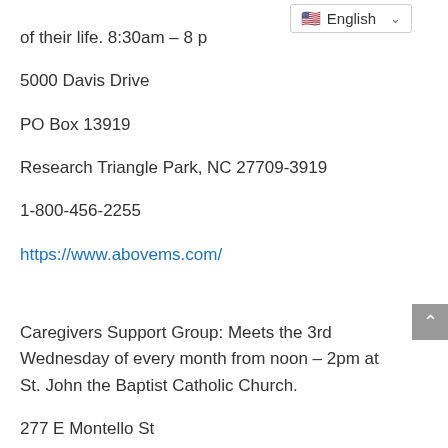of their life. 8:30am – 8 p...
5000 Davis Drive
PO Box 13919
Research Triangle Park, NC 27709-3919
1-800-456-2255
https://www.abovems.com/
Caregivers Support Group: Meets the 3rd Wednesday of every month from noon – 2pm at St. John the Baptist Catholic Church.
277 E Montello St
Montello, WI 53949
(608)297-3101
Domestic and Sexual Assault Support: Offered through the Hope House: an organization aimed at preventing abuse and provide support to both male and female victims of domestic and sexual violence. Provides a 27-hour help-line, advocacy, ...